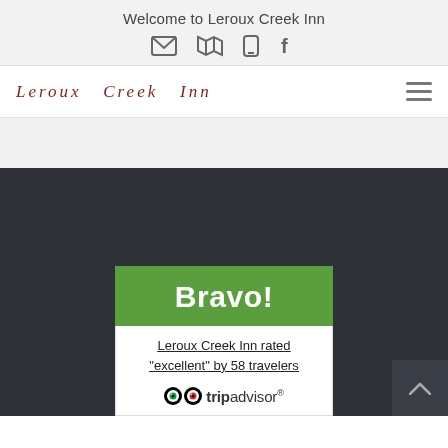Welcome to Leroux Creek Inn
[Figure (other): Navigation icons: envelope, map, phone, facebook]
Leroux Creek Inn
[Figure (other): Hamburger menu icon (three horizontal lines)]
[Figure (other): TripAdvisor Bravo widget: green header with 'Bravo!' text, white body with 'Leroux Creek Inn rated "excellent" by 58 travelers' and TripAdvisor logo]
Leroux Creek Inn rated "excellent" by 58 travelers